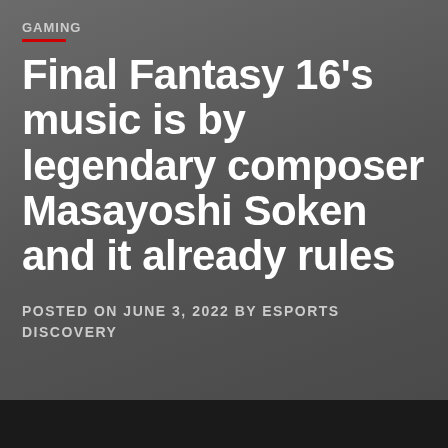GAMING
Final Fantasy 16’s music is by legendary composer Masayoshi Soken and it already rules
POSTED ON JUNE 3, 2022 BY ESPORTS DISCOVERY